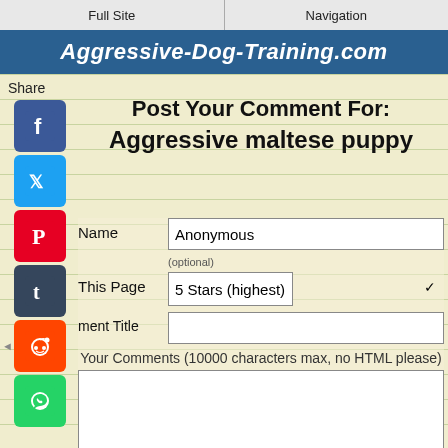Full Site | Navigation
Aggressive-Dog-Training.com
Share
Post Your Comment For:
Aggressive maltese puppy
Name (optional) — Anonymous
This Page — 5 Stars (highest)
ment Title
Your Comments (10000 characters max, no HTML please)